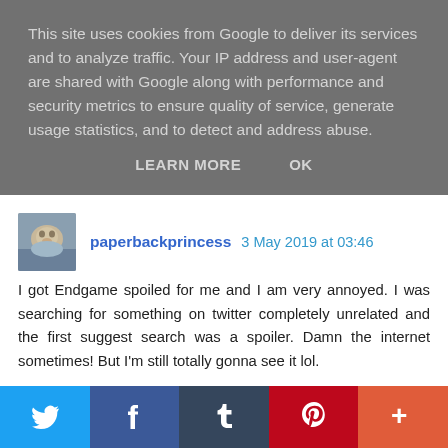This site uses cookies from Google to deliver its services and to analyze traffic. Your IP address and user-agent are shared with Google along with performance and security metrics to ensure quality of service, generate usage statistics, and to detect and address abuse.
LEARN MORE    OK
paperbackprincess  3 May 2019 at 03:46
I got Endgame spoiled for me and I am very annoyed. I was searching for something on twitter completely unrelated and the first suggest search was a spoiler. Damn the internet sometimes! But I'm still totally gonna see it lol.
Reply
Replies